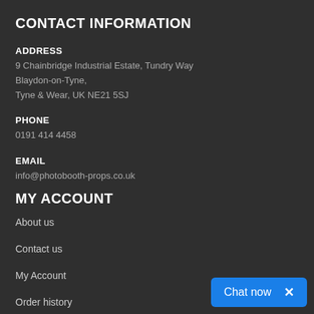CONTACT INFORMATION
ADDRESS
9 Chainbridge Industrial Estate, Tundry Way
Blaydon-on-Tyne,
Tyne & Wear, UK NE21 5SJ
PHONE
0191 414 4458
EMAIL
info@photobooth-props.co.uk
MY ACCOUNT
About us
Contact us
My Account
Order history